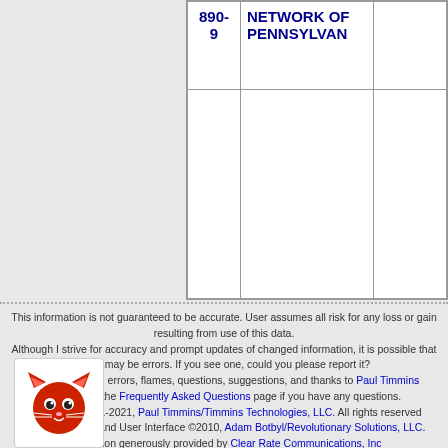|  | 890-9 | NETWORK OF PENNSYLVAN |  |
| --- | --- | --- | --- |
|  |  |  |  |
This information is not guaranteed to be accurate. User assumes all risk for any loss or gain resulting from use of this data. Although I strive for accuracy and prompt updates of changed information, it is possible that there may be errors. If you see one, could you please report it? Please report all errors, flames, questions, suggestions, and thanks to Paul Timmins Please see the Frequently Asked Questions page if you have any questions. Copyright ©2001-2021, Paul Timmins/Timmins Technologies, LLC. All rights reserved Website Design and User Interface ©2010, Adam Botbyl/Revolutionary Solutions, LLC. Colocation generously provided by Clear Rate Communications, Inc Has this site changed your life? Made your job easier? I always love Fanmail and Suggestions.
[Figure (illustration): Red cat face icon/logo]